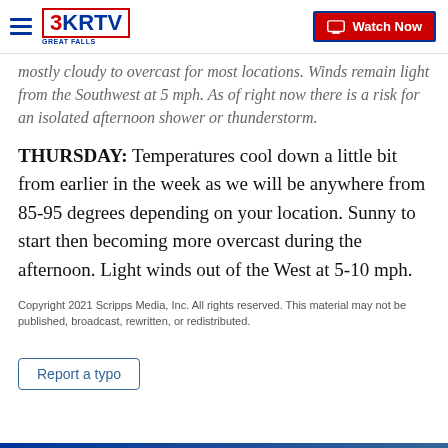3KRTV GREAT FALLS | Watch Now
mostly cloudy to overcast for most locations. Winds remain light from the Southwest at 5 mph. As of right now there is a risk for an isolated afternoon shower or thunderstorm.
THURSDAY: Temperatures cool down a little bit from earlier in the week as we will be anywhere from 85-95 degrees depending on your location. Sunny to start then becoming more overcast during the afternoon. Light winds out of the West at 5-10 mph.
Copyright 2021 Scripps Media, Inc. All rights reserved. This material may not be published, broadcast, rewritten, or redistributed.
Report a typo